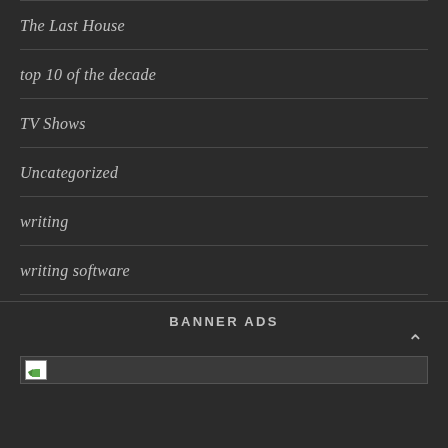The Last House
top 10 of the decade
TV Shows
Uncategorized
writing
writing software
BANNER ADS
[Figure (other): Broken image placeholder in a banner ad area with a small file/document icon]